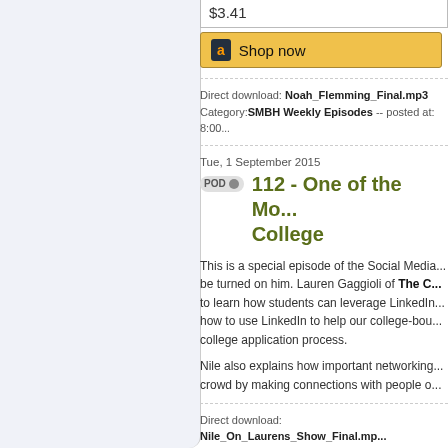$3.41
[Figure (other): Amazon Shop now button with orange/gold background and Amazon logo]
Direct download: Noah_Flemming_Final.mp3
Category:SMBH Weekly Episodes -- posted at: 8:00...
Tue, 1 September 2015
112 - One of the Mo... College
This is a special episode of the Social Media... be turned on him. Lauren Gaggioli of The C... to learn how students can leverage LinkedIn... how to use LinkedIn to help our college-bou... college application process.
Nile also explains how important networking... crowd by making connections with people o...
Direct download: Nile_On_Laurens_Show_Final.mp...
Category:general -- posted at: 3:00am EDT